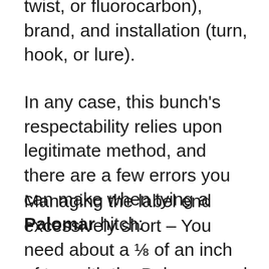contingent upon the line type (mono, twist, or fluorocarbon), brand, and installation (turn, hook, or lure).
In any case, this bunch's respectability relies upon legitimate method, and there are a few errors you can make when tying a Palomar hitch:
Managing the label end excessively short – You need about a ⅛ of an inch of tag with the Palomar, and in all honesty, it's not horrendously label touchy. All things considered, a truly